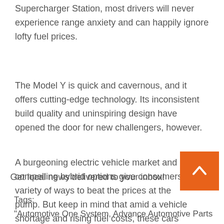Supercharger Station, most drivers will never experience range anxiety and can happily ignore lofty fuel prices.
The Model Y is quick and cavernous, and it offers cutting-edge technology. Its inconsistent build quality and uninspiring design have opened the door for new challengers, however.
A burgeoning electric vehicle market and compelling hybrid options give consumers a variety of ways to beat the prices at the pump. But keep in mind that amid a vehicle shortage and rising fuel costs, these cars may be even harder to find or may carry premiums at dealers.
Get local news delivered to your inbox!
Tags:
"Automotive One System, Advance Automotive Parts